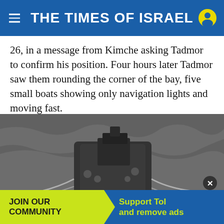THE TIMES OF ISRAEL
26, in a message from Kimche asking Tadmor to confirm his position. Four hours later Tadmor saw them rounding the corner of the bay, five small boats showing only navigation lights and moving fast.
[Figure (photo): Black and white aerial photograph of a naval vessel at sea, viewed from above, showing the ship's deck with equipment and superstructure, surrounded by choppy water.]
JOIN OUR COMMUNITY   Support ToI and remove ads